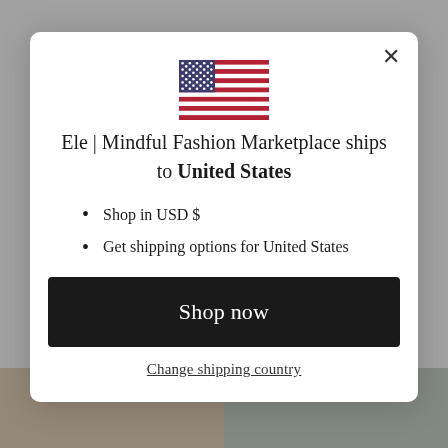[Figure (illustration): US flag emoji/icon displayed centered above the title text]
Ele | Mindful Fashion Marketplace ships to United States
Shop in USD $
Get shipping options for United States
Shop now
Change shipping country